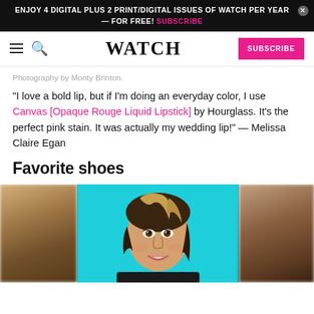ENJOY 4 DIGITAL PLUS 2 PRINT/DIGITAL ISSUES OF WATCH PER YEAR — FOR FREE! SUBSCRIBE
WATCH | SUBSCRIBE
Photography by Monty Brinton.
"I love a bold lip, but if I'm doing an everyday color, I use Canvas [Opaque Rouge Liquid Lipstick] by Hourglass. It's the perfect pink stain. It was actually my wedding lip!" — Melissa Claire Egan
Favorite shoes
[Figure (photo): Portrait of Melissa Claire Egan smiling, with highlighted hair, against a teal/cyan background. Partial blurred images to left and right.]